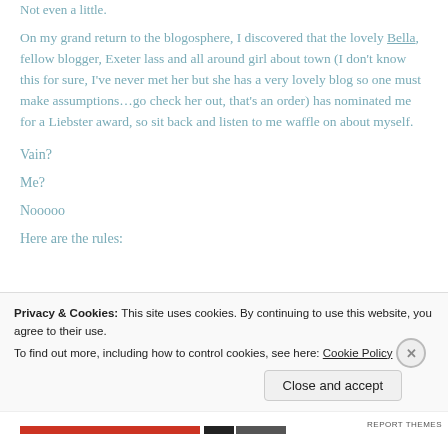Not even a little.
On my grand return to the blogosphere, I discovered that the lovely Bella, fellow blogger, Exeter lass and all around girl about town (I don't know this for sure, I've never met her but she has a very lovely blog so one must make assumptions…go check her out, that's an order) has nominated me for a Liebster award, so sit back and listen to me waffle on about myself.
Vain?
Me?
Nooooo
Here are the rules:
Privacy & Cookies: This site uses cookies. By continuing to use this website, you agree to their use. To find out more, including how to control cookies, see here: Cookie Policy
Close and accept